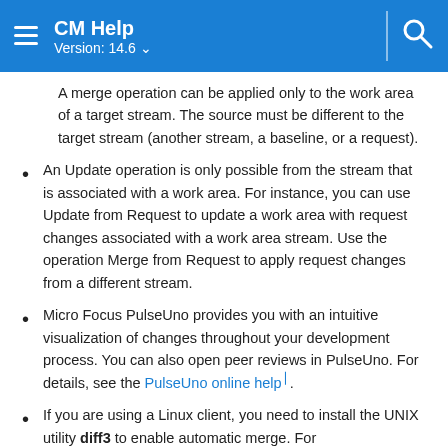CM Help Version: 14.6
A merge operation can be applied only to the work area of a target stream. The source must be different to the target stream (another stream, a baseline, or a request).
An Update operation is only possible from the stream that is associated with a work area. For instance, you can use Update from Request to update a work area with request changes associated with a work area stream. Use the operation Merge from Request to apply request changes from a different stream.
Micro Focus PulseUno provides you with an intuitive visualization of changes throughout your development process. You can also open peer reviews in PulseUno. For details, see the PulseUno online help [external link].
If you are using a Linux client, you need to install the UNIX utility diff3 to enable automatic merge. For